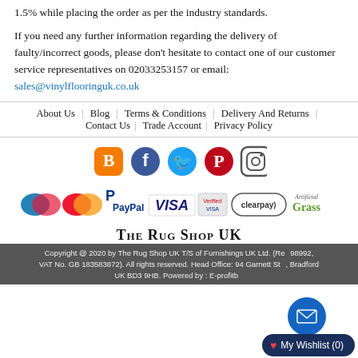1.5% while placing the order as per the industry standards.
If you need any further information regarding the delivery of faulty/incorrect goods, please don't hesitate to contact one of our customer service representatives on 02033253157 or email: sales@vinylflooringuk.co.uk
About Us | Blog | Terms & Conditions | Delivery And Returns | Contact Us | Trade Account | Privacy Policy
[Figure (other): Social media icons: Blogger (orange), Facebook (blue), Twitter (blue bird), Pinterest (red), Instagram (gradient outline)]
[Figure (other): Payment logos: Maestro, Mastercard, PayPal, Visa, Verified by Visa, Clearpay, Artificial Grass logo]
The Rug Shop UK
Copyright @ 2020 by The Rug Shop UK T/S of Furnishings UK Ltd. (Re...98992, VAT No. GB 183583872). All rights reserved. Head Office: 94 Garnett St..., Bradford UK BD3 9HB. Powered by : E-profitb...